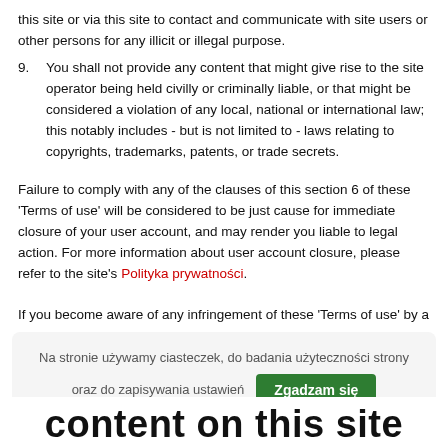this site or via this site to contact and communicate with site users or other persons for any illicit or illegal purpose.
9. You shall not provide any content that might give rise to the site operator being held civilly or criminally liable, or that might be considered a violation of any local, national or international law; this notably includes - but is not limited to - laws relating to copyrights, trademarks, patents, or trade secrets.
Failure to comply with any of the clauses of this section 6 of these 'Terms of use' will be considered to be just cause for immediate closure of your user account, and may render you liable to legal action. For more information about user account closure, please refer to the site's Polityka prywatności.
If you become aware of any infringement of these 'Terms of use' by a
Na stronie używamy ciasteczek, do badania użyteczności strony oraz do zapisywania ustawień
content on this site